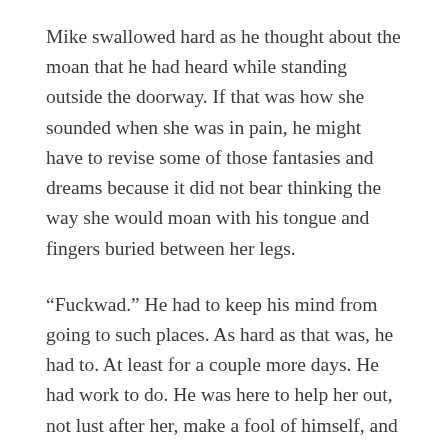Mike swallowed hard as he thought about the moan that he had heard while standing outside the doorway. If that was how she sounded when she was in pain, he might have to revise some of those fantasies and dreams because it did not bear thinking the way she would moan with his tongue and fingers buried between her legs.
“Fuckwad.” He had to keep his mind from going to such places. As hard as that was, he had to. At least for a couple more days. He had work to do. He was here to help her out, not lust after her, make a fool of himself, and pile up kinky memories for the road. But he knew that was precisely what he was doing.
And that damned nightgown that he had glimpsed was a hell of one. How could something that was